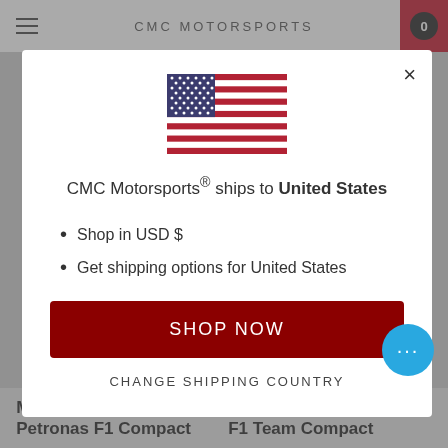CMC MOTORSPORTS
[Figure (illustration): US flag emoji/illustration centered in modal]
CMC Motorsports® ships to United States
Shop in USD $
Get shipping options for United States
SHOP NOW
CHANGE SHIPPING COUNTRY
Mercedes Benz AMG Petronas F1 Compact
Aston Martin Cognizant F1 Team Compact